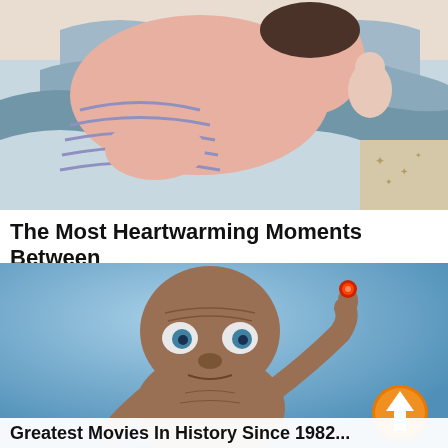[Figure (illustration): Illustration of a large figure in striped clothing hugging or holding a small child/doll, cozy bedtime scene with starry fabric visible.]
The Most Heartwarming Moments Between Father And Daughter
HERBEAUTY
[Figure (photo): Photograph of E.T. the Extra-Terrestrial character from the movie, with glowing red fingertip raised, set against a blue background. An orange circle with an upward arrow is visible in the lower right.]
Greatest Movies In History Since 1982...